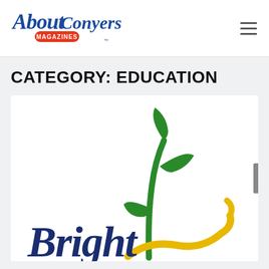[Figure (logo): About Magazines Conyers logo - script/cursive text in blue reading 'About Conyers' with 'MAGAZINES' in a red/orange rounded rectangle badge below 'About']
CATEGORY: EDUCATION
[Figure (logo): Bright logo with green plant/sprout illustration and yellow curved swoosh, partial text 'BRIGHT' visible in dark navy blue italic font]